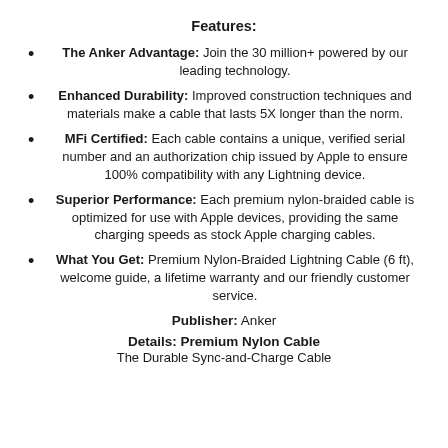Features:
The Anker Advantage: Join the 30 million+ powered by our leading technology.
Enhanced Durability: Improved construction techniques and materials make a cable that lasts 5X longer than the norm.
MFi Certified: Each cable contains a unique, verified serial number and an authorization chip issued by Apple to ensure 100% compatibility with any Lightning device.
Superior Performance: Each premium nylon-braided cable is optimized for use with Apple devices, providing the same charging speeds as stock Apple charging cables.
What You Get: Premium Nylon-Braided Lightning Cable (6 ft), welcome guide, a lifetime warranty and our friendly customer service.
Publisher: Anker
Details: Premium Nylon Cable
The Durable Sync-and-Charge Cable